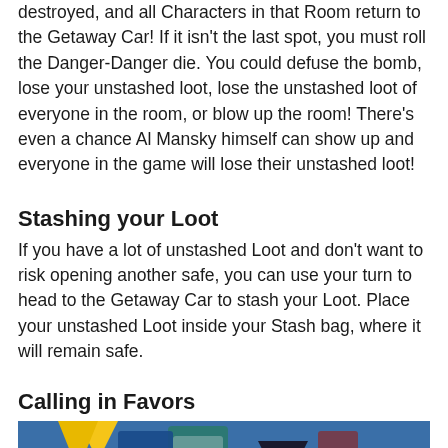destroyed, and all Characters in that Room return to the Getaway Car! If it isn't the last spot, you must roll the Danger-Danger die. You could defuse the bomb, lose your unstashed loot, lose the unstashed loot of everyone in the room, or blow up the room! There's even a chance Al Mansky himself can show up and everyone in the game will lose their unstashed loot!
Stashing your Loot
If you have a lot of unstashed Loot and don't want to risk opening another safe, you can use your turn to head to the Getaway Car to stash your Loot. Place your unstashed Loot inside your Stash bag, where it will remain safe.
Calling in Favors
[Figure (photo): A photograph showing board game components including what appears to be cards or tiles against a blue background with yellow and other colorful elements visible.]